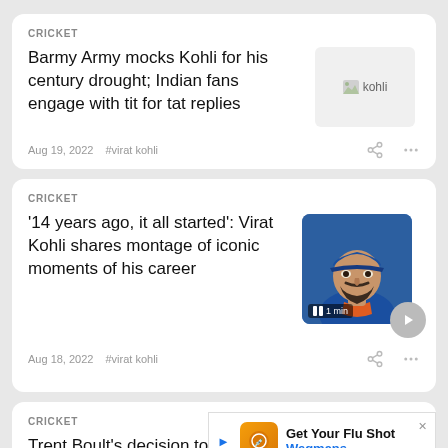CRICKET
Barmy Army mocks Kohli for his century drought; Indian fans engage with tit for tat replies
[Figure (photo): Small broken/placeholder image thumbnail labeled 'kohli']
Aug 19, 2022   #virat kohli
CRICKET
'14 years ago, it all started': Virat Kohli shares montage of iconic moments of his career
[Figure (photo): Photo of Virat Kohli in blue cricket cap, side profile, with 1 min video badge]
Aug 18, 2022   #virat kohli
CRICKET
Trent Boult's decision to
[Figure (infographic): Advertisement: Get Your Flu Shot - Wegmans]